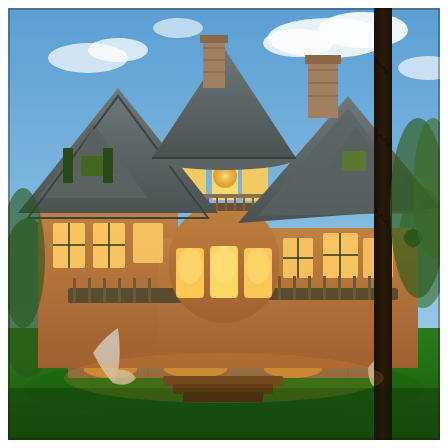[Figure (photo): Exterior photograph of a large Victorian/craftsman-style luxury mansion at dusk. The house features steeply pitched slate-grey roofs with multiple gables, a rounded tower with large bay windows glowing with warm amber interior light, stone masonry walls forming arched entries at ground level, wood siding painted in earth tones, multiple stone chimneys, decorative shutters, wraparound porches, and balconies with railings. The yard has lush green grass. A tall dark tree trunk is visible on the right side. The sky is blue with scattered white clouds.]